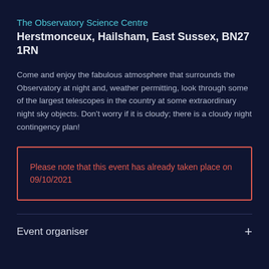The Observatory Science Centre
Herstmonceux, Hailsham, East Sussex, BN27 1RN
Come and enjoy the fabulous atmosphere that surrounds the Observatory at night and, weather permitting, look through some of the largest telescopes in the country at some extraordinary night sky objects. Don't worry if it is cloudy; there is a cloudy night contingency plan!
Please note that this event has already taken place on 09/10/2021
Event organiser